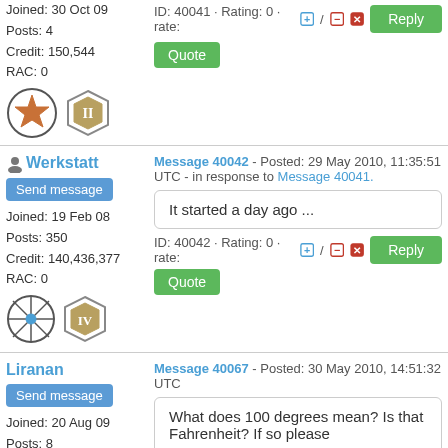Joined: 30 Oct 09
Posts: 4
Credit: 150,544
RAC: 0
[Figure (illustration): Two user badge icons: a star badge and a diamond level II badge]
ID: 40041 · Rating: 0 · rate: [+] / [-] [x]
Reply
Quote
Werkstatt
Send message
Joined: 19 Feb 08
Posts: 350
Credit: 140,436,377
RAC: 0
[Figure (illustration): Two user badge icons: a compass/wheel badge and a diamond level IV badge]
Message 40042 - Posted: 29 May 2010, 11:35:51 UTC - in response to Message 40041.
It started a day ago ...
ID: 40042 · Rating: 0 · rate: [+] / [-] [x]
Reply
Quote
Liranan
Send message
Joined: 20 Aug 09
Posts: 8
Message 40067 - Posted: 30 May 2010, 14:51:32 UTC
What does 100 degrees mean? Is that Fahrenheit? If so please